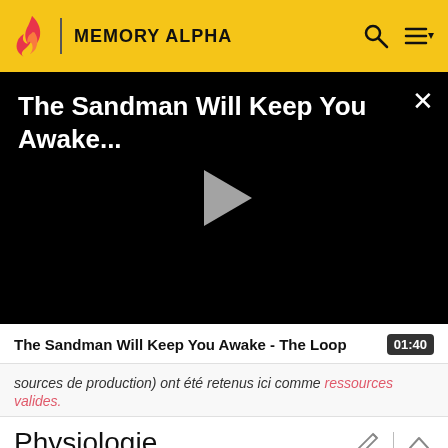MEMORY ALPHA
[Figure (screenshot): Black video player with title 'The Sandman Will Keep You Awake...' and a grey play button in the center, with an X close button in the top right corner.]
The Sandman Will Keep You Awake - The Loop   01:40
sources de production) ont été retenus ici comme ressources valides.
Physiologie